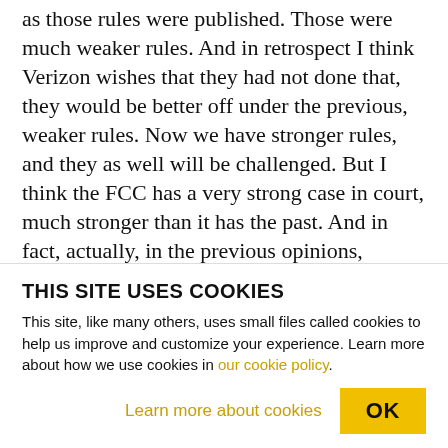as those rules were published. Those were much weaker rules. And in retrospect I think Verizon wishes that they had not done that, they would be better off under the previous, weaker rules. Now we have stronger rules, and they as well will be challenged. But I think the FCC has a very strong case in court, much stronger than it has the past. And in fact, actually, in the previous opinions, Justice Scalia has suggested that going this route of this Title II regulation, treating the internet as a utility, as many people are calling it, is the appropriate path forward. DESVARIEUX: Alright, Christopher Mitchell joining
THIS SITE USES COOKIES
This site, like many others, uses small files called cookies to help us improve and customize your experience. Learn more about how we use cookies in our cookie policy.
Learn more about cookies
OK